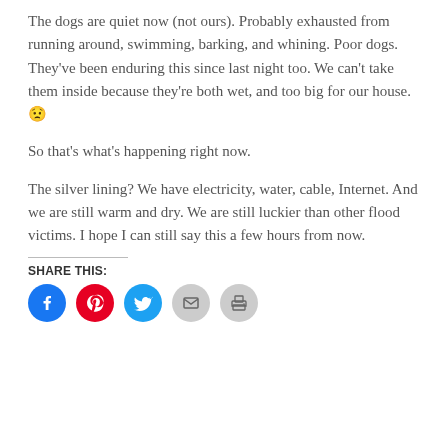The dogs are quiet now (not ours). Probably exhausted from running around, swimming, barking, and whining. Poor dogs. They've been enduring this since last night too. We can't take them inside because they're both wet, and too big for our house. 😟
So that's what's happening right now.
The silver lining? We have electricity, water, cable, Internet. And we are still warm and dry. We are still luckier than other flood victims. I hope I can still say this a few hours from now.
SHARE THIS: